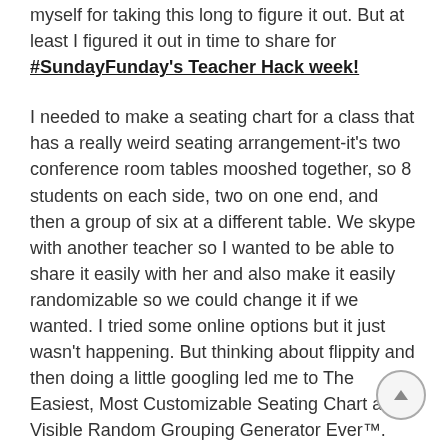myself for taking this long to figure it out. But at least I figured it out in time to share for #SundayFunday's Teacher Hack week!
I needed to make a seating chart for a class that has a really weird seating arrangement-it's two conference room tables mooshed together, so 8 students on each side, two on one end, and then a group of six at a different table. We skype with another teacher so I wanted to be able to share it easily with her and also make it easily randomizable so we could change it if we wanted. I tried some online options but it just wasn't happening. But thinking about flippity and then doing a little googling led me to The Easiest, Most Customizable Seating Chart and Visible Random Grouping Generator Ever™.
Step one: Enter your names.
Step two: Make your layout. If you have group tables, but want to assign seats, I suggest making a border around